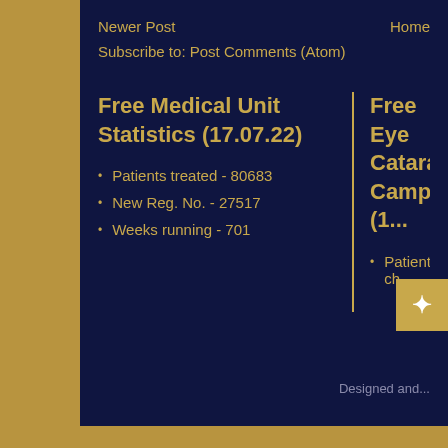Newer Post    Home
Subscribe to: Post Comments (Atom)
Free Medical Unit Statistics (17.07.22)
Patients treated - 80683
New Reg. No. - 27517
Weeks running - 701
Free Eye Cataract Camp (1...
Patients ch...
Designed and...